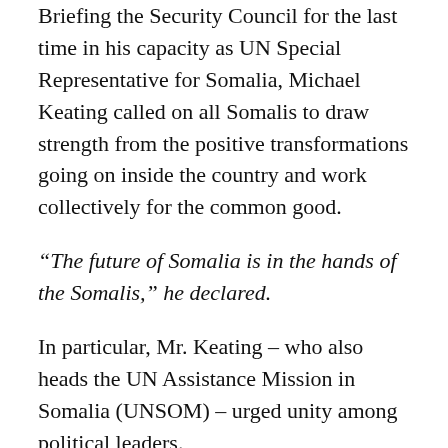Briefing the Security Council for the last time in his capacity as UN Special Representative for Somalia, Michael Keating called on all Somalis to draw strength from the positive transformations going on inside the country and work collectively for the common good.
“The future of Somalia is in the hands of the Somalis,” he declared.
In particular, Mr. Keating – who also heads the UN Assistance Mission in Somalia (UNSOM) – urged unity among political leaders.
“The more [they] show unity, the greater the opportunity, and the responsibility, of international